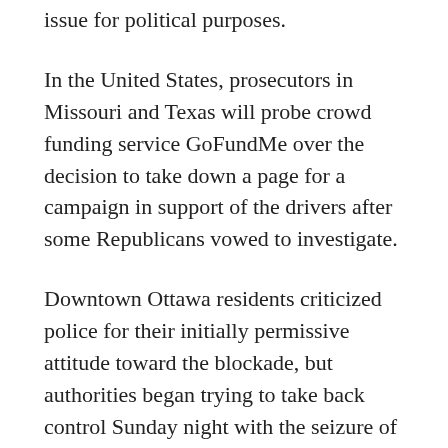issue for political purposes.
In the United States, prosecutors in Missouri and Texas will probe crowd funding service GoFundMe over the decision to take down a page for a campaign in support of the drivers after some Republicans vowed to investigate.
Downtown Ottawa residents criticized police for their initially permissive attitude toward the blockade, but authorities began trying to take back control Sunday night with the seizure of thousands of liters of fuel and the removal of an oil tanker truck.
Police have asked for reinforcements - both officers